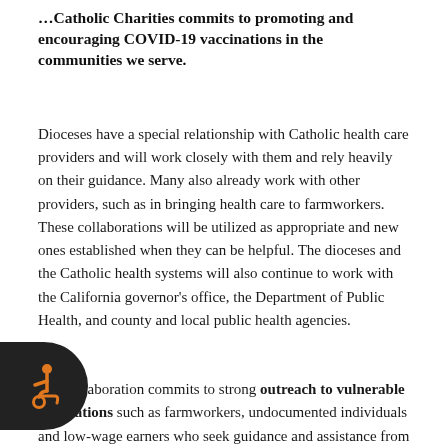Catholic Charities commits to promoting and encouraging COVID-19 vaccinations in the communities we serve.
Dioceses have a special relationship with Catholic health care providers and will work closely with them and rely heavily on their guidance. Many also already work with other providers, such as in bringing health care to farmworkers. These collaborations will be utilized as appropriate and new ones established when they can be helpful. The dioceses and the Catholic health systems will also continue to work with the California governor’s office, the Department of Public Health, and county and local public health agencies.
Our collaboration commits to strong outreach to vulnerable populations such as farmworkers, undocumented individuals and low-wage earners who seek guidance and assistance from our ministries. [A portion] of this work will focus on promoting or establishing, if [neces]sary, safe locations for undocumented individuals and others who [ma]y not have regular access to health care, are unsure of the motives behind the vaccination or are not certain where to turn for help.